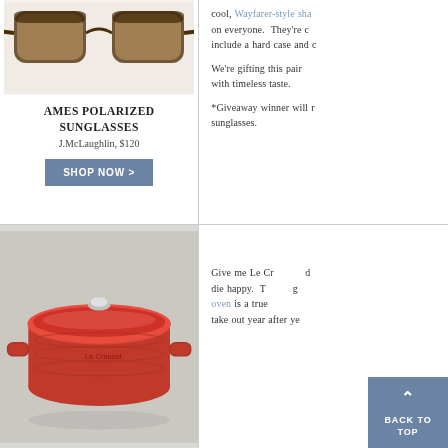[Figure (photo): Ames polarized sunglasses with tortoise shell frame and brown lenses, top portion visible]
AMES POLARIZED SUNGLASSES
J.McLaughlin, $120
SHOP NOW >
cool, Wayfarer-style sha... on everyone. They're c... include a hard case and c...
We're gifting this pair... with timeless taste.
*Giveaway winner will r... sunglasses.
[Figure (photo): Red Le Creuset round dutch oven with lid, photographed on a light surface]
Give me Le Cr... die happy. T... oven is a true... take out year after ye...
BACK TO TOP